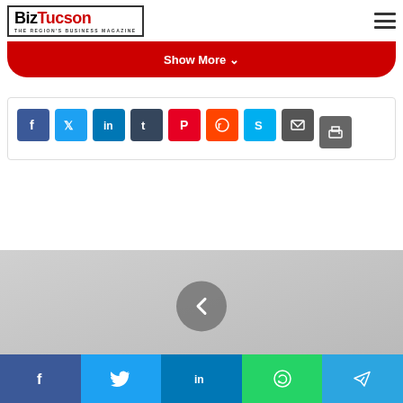BizTucson - The Region's Business Magazine
[Figure (screenshot): Red 'Show More' button bar with chevron down icon]
[Figure (screenshot): Social share icons row: Facebook (blue), Twitter (light blue), LinkedIn (blue), Tumblr (dark blue), Pinterest (red), Reddit (orange-red), Skype (blue), Email (dark gray), Print (gray)]
[Figure (screenshot): Carousel navigation area with gray background, left arrow chevron button, and red dot indicators at bottom]
[Figure (screenshot): Bottom social share bar with Facebook, Twitter, LinkedIn, WhatsApp, Telegram icons]